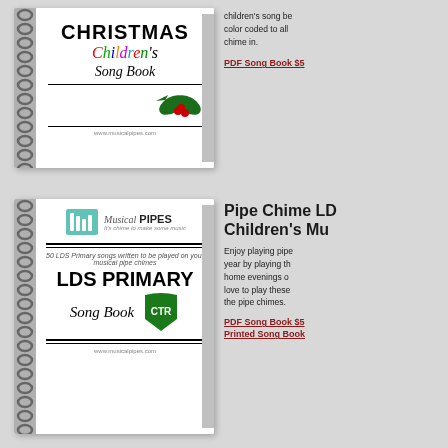[Figure (illustration): Christmas Children's Song Book cover — spiral bound notebook with holly decoration and www.musicalpipes.com URL]
children's song book color coded to allow chime in.
PDF Song Book $5
[Figure (illustration): LDS Primary Song Book cover — spiral bound notebook with Musical Pipes logo, CTR shield, and www.musicalpipes.com URL]
Pipe Chime LDS Children's Music
Enjoy playing pipe chimes all year by playing these songs at home evenings or church. Kids love to play these songs using the pipe chimes.
PDF Song Book $5
Printed Song Book